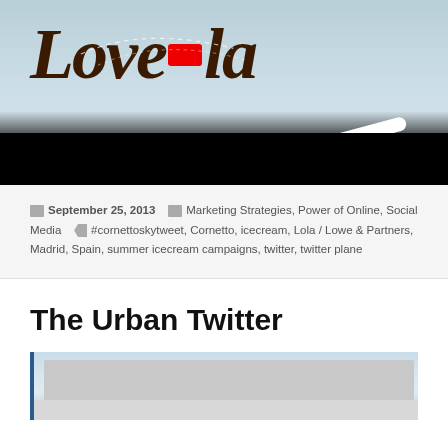[Figure (photo): Top portion of a 'Love' branded advertisement image with script text, a red icon, dashed arc lines, and a white diagonal bar against a light blue sky background, with a black bar at the bottom]
September 25, 2013   Marketing Strategies, Power of Online, Social Media   #cornettoskytweet, Cornetto, icecream, Lola / Lowe & Partners, Madrid, Spain, summer icecream campaigns, twitter, twitter plane
The Urban Twitter
[Figure (photo): Partial view of an urban building exterior, light colored facade with architectural details, against a blue sky]